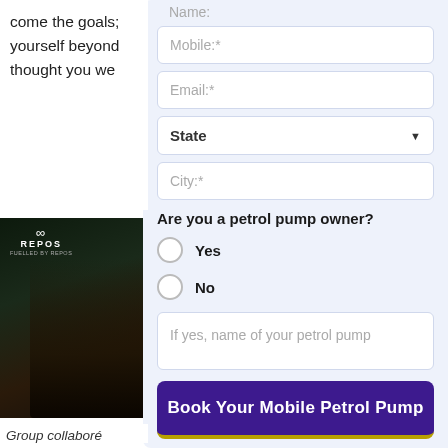come the goals; yourself beyond thought you we
[Figure (photo): Dark photo of a person with a logo overlay showing infinity symbol and REPOS text]
Group collaboré
Sorry to break it happening in a parallel universe. This is what the team at Repos looks like!
"Meetings come and go, but the fun element should
Name: (clipped field)
Mobile:*
Email:*
State
City:*
Are you a petrol pump owner?
Yes
No
If yes, name of your petrol pump
Book Your Mobile Petrol Pump